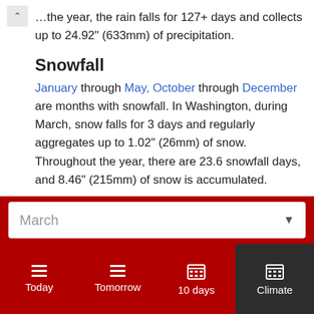...the year, the rain falls for 127+ days and collects up to 24.92" (633mm) of precipitation.
Snowfall
January through May, October through December are months with snowfall. In Washington, during March, snow falls for 3 days and regularly aggregates up to 1.02" (26mm) of snow. Throughout the year, there are 23.6 snowfall days, and 8.46" (215mm) of snow is accumulated.
Daylight
March
Today | Tomorrow | 10 days | Climate